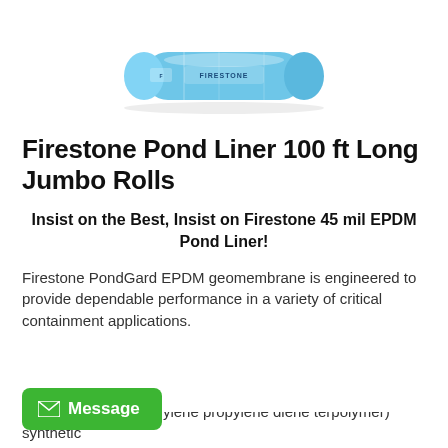[Figure (photo): A rolled blue Firestone pond liner product, cylindrical shape wrapped in light blue plastic packaging with Firestone branding visible.]
Firestone Pond Liner 100 ft Long Jumbo Rolls
Insist on the Best, Insist on Firestone 45 mil EPDM Pond Liner!
Firestone PondGard EPDM geomembrane is engineered to provide dependable performance in a variety of critical containment applications.
Based on EPDM (ethylene propylene diene terpolymer) synthetic